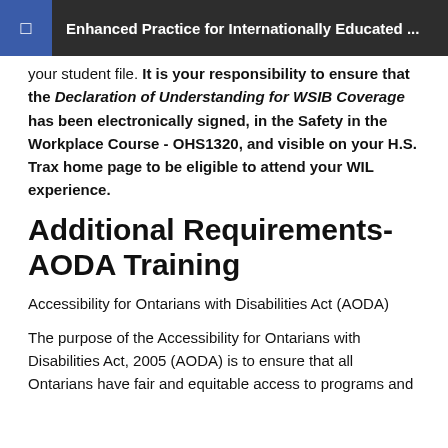Enhanced Practice for Internationally Educated ...
your student file. It is your responsibility to ensure that the Declaration of Understanding for WSIB Coverage has been electronically signed, in the Safety in the Workplace Course - OHS1320, and visible on your H.S. Trax home page to be eligible to attend your WIL experience.
Additional Requirements- AODA Training
Accessibility for Ontarians with Disabilities Act (AODA)
The purpose of the Accessibility for Ontarians with Disabilities Act, 2005 (AODA) is to ensure that all Ontarians have fair and equitable access to programs and